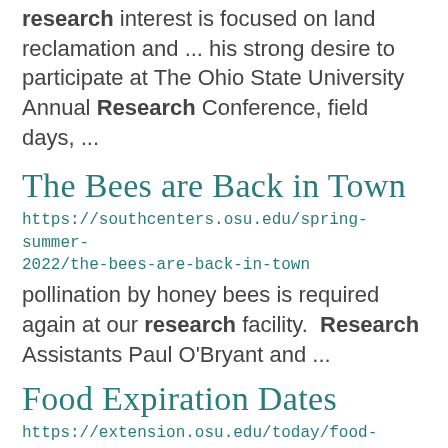research interest is focused on land reclamation and ... his strong desire to participate at The Ohio State University Annual Research Conference, field days, ...
The Bees are Back in Town
https://southcenters.osu.edu/spring-summer-2022/the-bees-are-back-in-town
pollination by honey bees is required again at our research facility.  Research Assistants Paul O'Bryant and ...
Food Expiration Dates
https://extension.osu.edu/today/food-expiration-dates
Ohio State researchers confirmed that